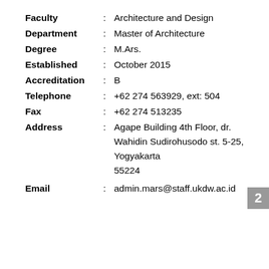Faculty : Architecture and Design
Department : Master of Architecture
Degree : M.Ars.
Established : October 2015
Accreditation : B
Telephone : +62 274 563929, ext: 504
Fax : +62 274 513235
Address : Agape Building 4th Floor, dr. Wahidin Sudirohusodo st. 5-25, Yogyakarta 55224
Email : admin.mars@staff.ukdw.ac.id
2